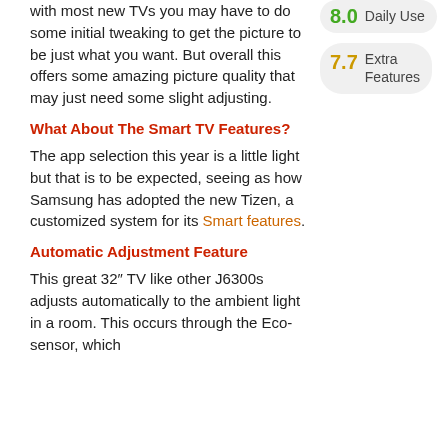with most new TVs you may have to do some initial tweaking to get the picture to be just what you want. But overall this offers some amazing picture quality that may just need some slight adjusting.
[Figure (infographic): Score badge: 8.0 Daily Use (green text on grey rounded rectangle)]
[Figure (infographic): Score badge: 7.7 Extra Features (gold text on grey rounded rectangle)]
What About The Smart TV Features?
The app selection this year is a little light but that is to be expected, seeing as how Samsung has adopted the new Tizen, a customized system for its Smart features.
Automatic Adjustment Feature
This great 32″ TV like other J6300s adjusts automatically to the ambient light in a room. This occurs through the Eco-sensor, which